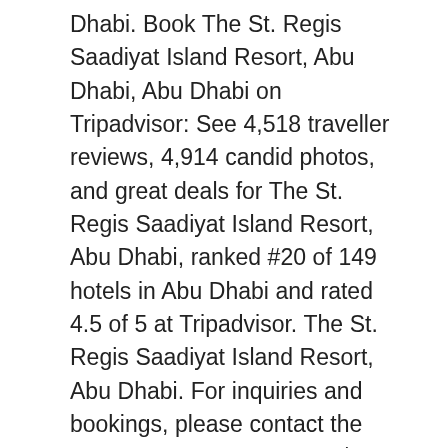Dhabi. Book The St. Regis Saadiyat Island Resort, Abu Dhabi, Abu Dhabi on Tripadvisor: See 4,518 traveller reviews, 4,914 candid photos, and great deals for The St. Regis Saadiyat Island Resort, Abu Dhabi, ranked #20 of 149 hotels in Abu Dhabi and rated 4.5 of 5 at Tripadvisor. The St. Regis Saadiyat Island Resort, Abu Dhabi. For inquiries and bookings, please contact the resort on +971 2 498 8888/ +971 2 498 8996, or email Iridium.Saadiyat@stregis.com or visit iridiumspaabudhabi.com Book Now Oléa The St. Regis Saadiyat Island Resort, Abu Dhabi , AUH The Manhattan Lounge - St. Regis Saadiyat Island Resort; The Manhattan Lounge - St. Regis Saadiyat Island Resort. Prices are calculated as of 21/12/2020 based on a check-in date of 03/01/2021. Date of stay: October 2020 Trip type: Travelled as a ... Manhattan Lounge. Saadiyat Island; Saadiyat Beach Club. You have not